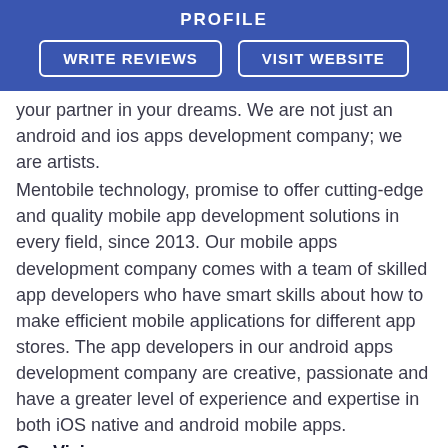PROFILE
WRITE REVIEWS
VISIT WEBSITE
your partner in your dreams. We are not just an android and ios apps development company; we are artists.
Mentobile technology, promise to offer cutting-edge and quality mobile app development solutions in every field, since 2013. Our mobile apps development company comes with a team of skilled app developers who have smart skills about how to make efficient mobile applications for different app stores. The app developers in our android apps development company are creative, passionate and have a greater level of experience and expertise in both iOS native and android mobile apps.
Our Vision:
For any other mobile apps development company, it